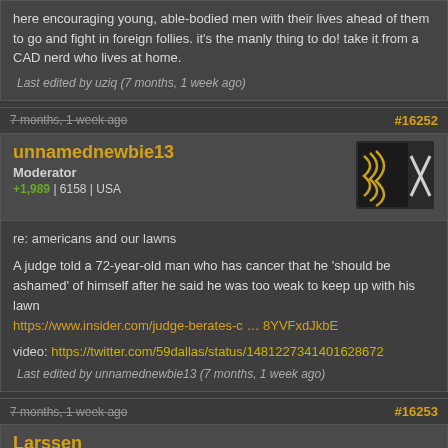here encouraging young, able-bodied men with their lives ahead of them to go and fight in foreign follies. it's the manly thing to do! take it from a CAD nerd who lives at home.
Last edited by uziq (7 months, 1 week ago)
7 months, 1 week ago  #16252
unnamednewbie13
Moderator
+1,989 | 6158 | USA
[Figure (logo): Forum avatar/badge with crossed pickaxes on dark background with decorative symbol]
re: americans and our lawns
A judge told a 72-year-old man who has cancer that he 'should be ashamed' of himself after he said he was too weak to keep up with his lawn
https://www.insider.com/judge-berates-c … 8YVFxdJkbE
video: https://twitter.com/59dallas/status/1481227341401628672
Last edited by unnamednewbie13 (7 months, 1 week ago)
7 months, 1 week ago  #16253
Larssen
Member
+93 | 1274